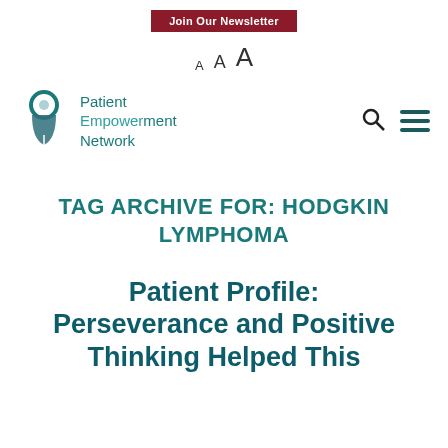Join Our Newsletter
A A A
[Figure (logo): Patient Empowerment Network logo with location pin icon and text]
TAG ARCHIVE FOR: HODGKIN LYMPHOMA
Patient Profile: Perseverance and Positive Thinking Helped This